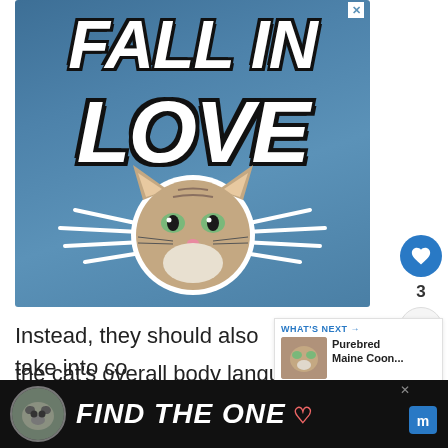[Figure (illustration): Advertisement banner with blue background showing 'FALL IN LOVE' text in large italic white letters with dark outline, a cat face in the center, and decorative white ray lines radiating outward. Close X button in top right corner.]
3
Instead, they should also take into co the cat's overall body language, to fully gauge
[Figure (illustration): What's Next sidebar showing a thumbnail of a cat and text 'WHAT'S NEXT → Purebred Maine Coon...']
[Figure (illustration): Bottom advertisement banner with black background showing a dog image and 'FIND THE ONE' text with a heart icon.]